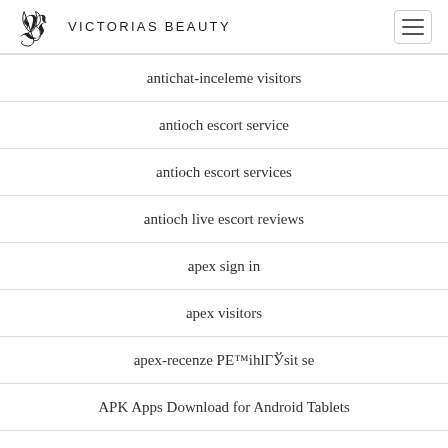VICTORIAS BEAUTY
antichat-inceleme visitors
antioch escort service
antioch escort services
antioch live escort reviews
apex sign in
apex visitors
apex-recenze PE™ihlГЎsit se
APK Apps Download for Android Tablets
APK Download